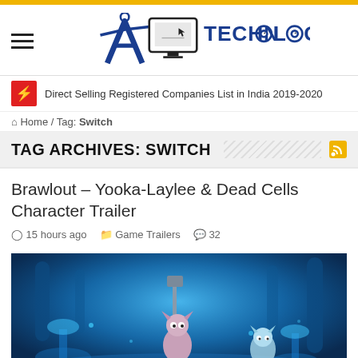7A Technology - Website header logo
Direct Selling Registered Companies List in India 2019-2020
Home / Tag: Switch
TAG ARCHIVES: SWITCH
Brawlout – Yooka-Laylee & Dead Cells Character Trailer
15 hours ago   Game Trailers   32
[Figure (screenshot): Game screenshot showing blue fantasy underwater/forest scene with character holding a shovel-like weapon, surrounded by glowing blue plants and creatures]